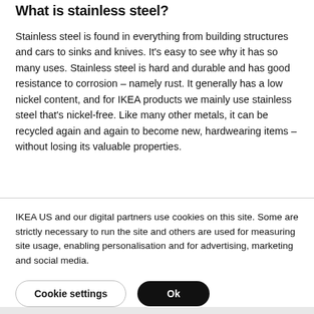What is stainless steel?
Stainless steel is found in everything from building structures and cars to sinks and knives. It's easy to see why it has so many uses. Stainless steel is hard and durable and has good resistance to corrosion – namely rust. It generally has a low nickel content, and for IKEA products we mainly use stainless steel that's nickel-free. Like many other metals, it can be recycled again and again to become new, hardwearing items – without losing its valuable properties.
IKEA US and our digital partners use cookies on this site. Some are strictly necessary to run the site and others are used for measuring site usage, enabling personalisation and for advertising, marketing and social media.